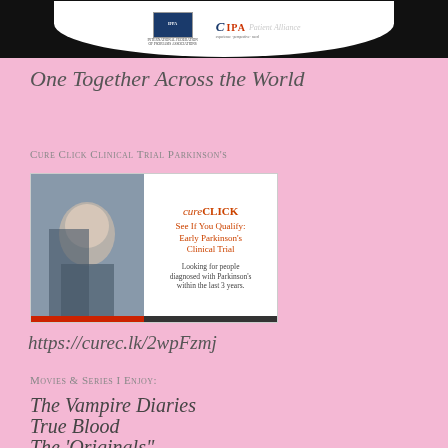[Figure (photo): Black banner with white curved shape containing IFPA and CIPA Patient Alliance logos]
One Together Across the World
Cure Click Clinical Trial Parkinson's
[Figure (photo): CureClick advertisement banner for Early Parkinson's Clinical Trial. Shows a woman on the left and text 'See If You Qualify: Early Parkinson's Clinical Trial. Looking for people diagnosed with Parkinson's within the last 3 years.']
https://curec.lk/2wpFzmj
Movies & Series I Enjoy:
The Vampire Diaries
True Blood
The 'Originals"